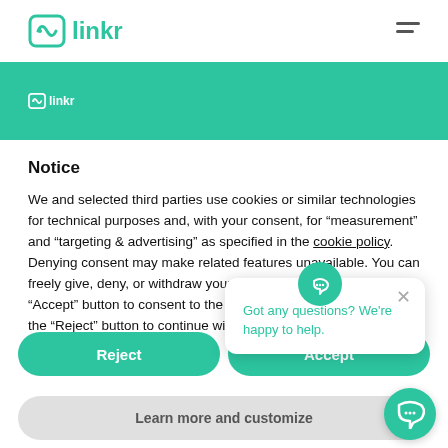[Figure (logo): Linkr logo in teal color in top navigation bar]
[Figure (logo): Small Linkr logo in white on teal header bar]
Notice
We and selected third parties use cookies or similar technologies for technical purposes and, with your consent, for “measurement” and “targeting & advertising” as specified in the cookie policy. Denying consent may make related features unavailable. You can freely give, deny, or withdraw your consent at any time. Use the “Accept” button to consent to the use of such technologies. Use the “Reject” button to continue without accepting.
[Figure (other): Chat popup with teal icon and message: Got any questions? We're happy to help. with a close X button]
Reject
Accept
Learn more and customize
[Figure (other): Teal circular chat bubble button in bottom right corner]